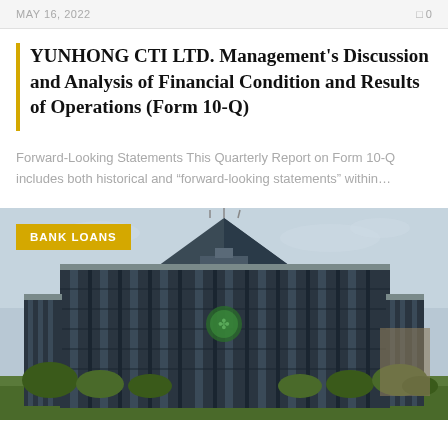MAY 16, 2022   0
YUNHONG CTI LTD. Management's Discussion and Analysis of Financial Condition and Results of Operations (Form 10-Q)
Forward-Looking Statements This Quarterly Report on Form 10-Q includes both historical and “forward-looking statements” within…
[Figure (photo): Large modern multi-story office building with dark glass facade, pyramid-shaped top section with green emblem, surrounded by trees. A yellow 'BANK LOANS' badge overlays the top-left corner of the image.]